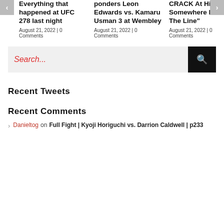Everything that happened at UFC 278 last night
August 21, 2022 | 0 Comments
ponders Leon Edwards vs. Kamaru Usman 3 at Wembley
August 21, 2022 | 0 Comments
CRACK At His Title Somewhere Down The Line"
August 21, 2022 | 0 Comments
[Figure (other): Search bar with red placeholder text 'Search...' and black search button with magnifying glass icon]
Recent Tweets
Recent Comments
Danieltog on Full Fight | Kyoji Horiguchi vs. Darrion Caldwell | p233